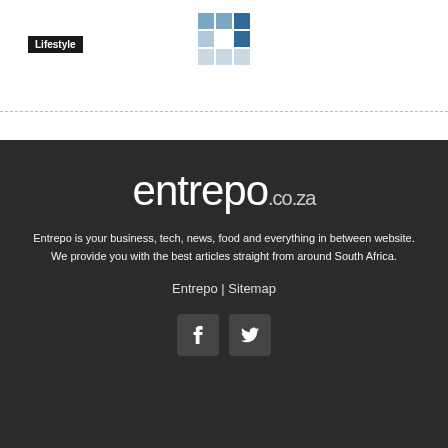Lifestyle
[Figure (logo): Entrepo grid logo made of blue and gray square tiles]
[Figure (logo): entrepo.co.za site title logo in white on dark background]
Entrepo is your business, tech, news, food and everything in between website. We provide you with the best articles straight from around South Africa.
Entrepo | Sitemap
[Figure (infographic): Social media icons: Facebook (f) and Twitter (bird)]